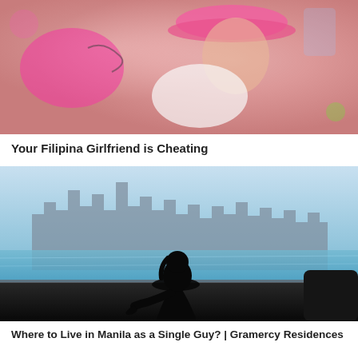[Figure (photo): Young woman wearing a pink cap and white top, posing in a colorful background with pink accents]
Your Filipina Girlfriend is Cheating
[Figure (photo): Silhouette of a woman sitting by an infinity pool overlooking a city skyline, dark figure against bright blue sky and buildings]
Where to Live in Manila as a Single Guy? | Gramercy Residences